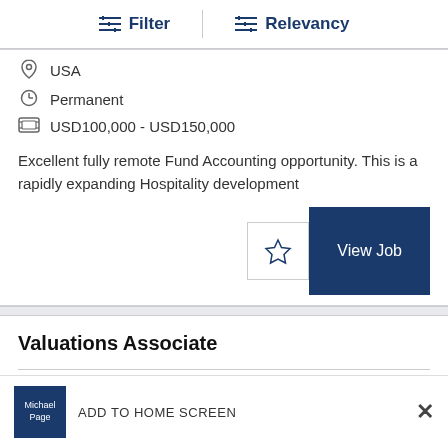Filter   Relevancy
USA
Permanent
USD100,000 - USD150,000
Excellent fully remote Fund Accounting opportunity. This is a rapidly expanding Hospitality development
Valuations Associate
ADD TO HOME SCREEN